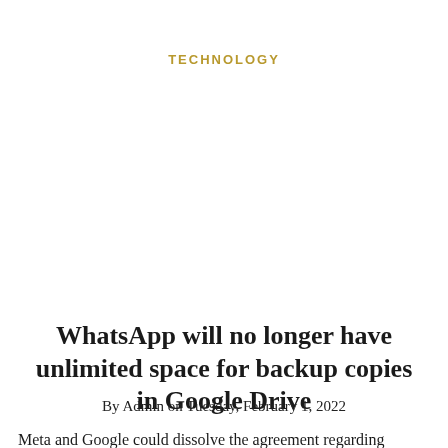TECHNOLOGY
WhatsApp will no longer have unlimited space for backup copies in Google Drive
By Admin on Tuesday, February 1, 2022
Meta and Google could dissolve the agreement regarding WhatsApp that